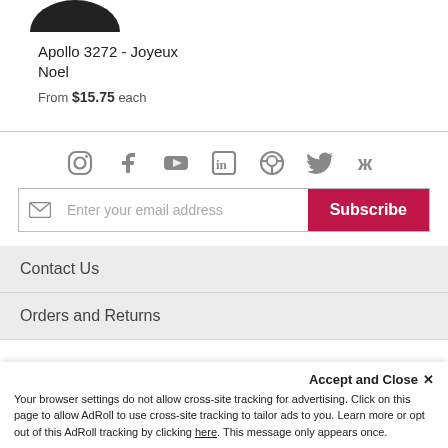[Figure (illustration): Partial circular product image at top, dark/black colored, cropped at top of page]
Apollo 3272 - Joyeux Noel
From $15.75 each
[Figure (infographic): Row of social media icons: Instagram, Facebook, YouTube, LinkedIn, Pinterest, Twitter, Yelp]
Enter your email address  Subscribe
Contact Us
Orders and Returns
Accept and Close ✕
Your browser settings do not allow cross-site tracking for advertising. Click on this page to allow AdRoll to use cross-site tracking to tailor ads to you. Learn more or opt out of this AdRoll tracking by clicking here. This message only appears once.